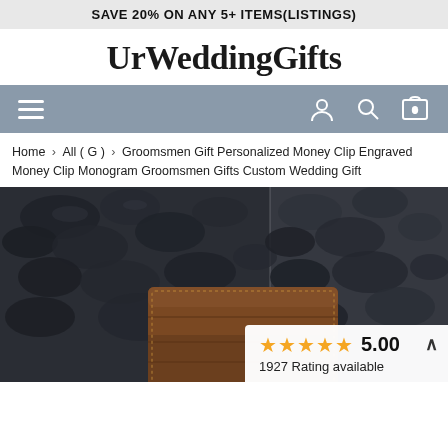SAVE 20% ON ANY 5+ ITEMS(LISTINGS)
UrWeddingGifts
[Figure (screenshot): Navigation bar with hamburger menu on left and account, search, cart icons on right on a grey-blue background]
Home > All ( G ) > Groomsmen Gift Personalized Money Clip Engraved Money Clip Monogram Groomsmen Gifts Custom Wedding Gift
[Figure (photo): Product photo showing a brown leather money clip/wallet against a dark rocks/pebbles background, with a rating overlay showing 5 gold stars, 5.00 rating, and 1927 Rating available]